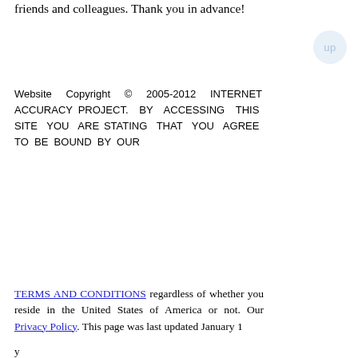friends and colleagues. Thank you in advance!
Website Copyright © 2005-2012 INTERNET ACCURACY PROJECT. BY ACCESSING THIS SITE YOU ARE STATING THAT YOU AGREE TO BE BOUND BY OUR
TERMS AND CONDITIONS regardless of whether you reside in the United States of America or not. Our Privacy Policy. This page was last updated January 1
y